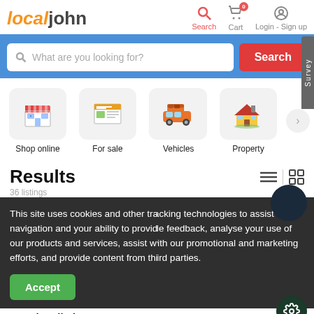[Figure (logo): LocalJohn logo with orange 'local' and gray 'john' text, search, cart (badge 0), and login/signup navigation icons]
[Figure (screenshot): Search bar with placeholder 'What are you looking for?' and red Search button, on blue background. Survey tab on right side.]
[Figure (infographic): Category icons: Shop online (store), For sale (newspaper), Vehicles (van), Property (house), with right arrow for more]
Results
36 listings
This site uses cookies and other tracking technologies to assist with navigation and your ability to provide feedback, analyse your use of our products and services, assist with our promotional and marketing efforts, and provide content from third parties.
Accept
Premium listings